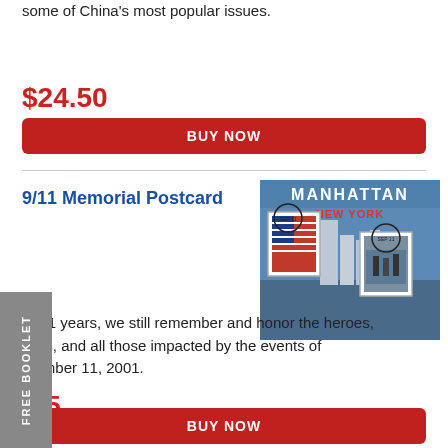some of China's most popular issues.
$24.50
BUY NOW
9/11 Memorial Postcard
[Figure (photo): 9/11 Memorial Postcard showing Manhattan skyline with American flag stamps and postmarks reading MANHATTAN NEW YORK]
er 21 years, we still remember and honor the heroes, cims, and all those impacted by the events of ptember 11, 2001.
.95
BUY NOW